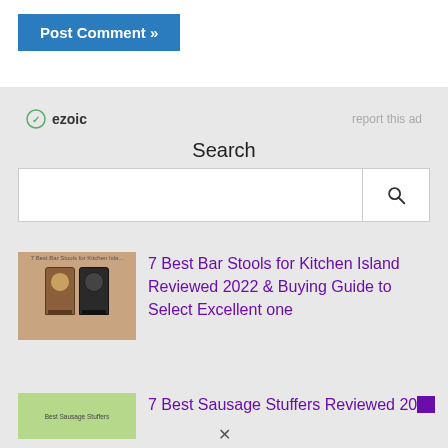Post Comment »
[Figure (screenshot): Ezoic ad placeholder with 'report this ad' link]
Search
[Figure (screenshot): Search bar with text input and search button]
[Figure (photo): Thumbnail image of bar stools for kitchen island article]
7 Best Bar Stools for Kitchen Island Reviewed 2022 & Buying Guide to Select Excellent one
[Figure (photo): Thumbnail image of Best Sausage Stuffers article]
7 Best Sausage Stuffers Reviewed 2022